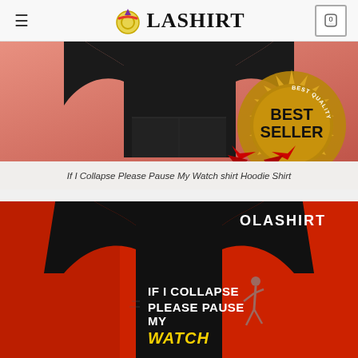OLASHIRT
[Figure (photo): Black hoodie sweatshirt on salmon/red background with a Best Seller gold badge in the bottom right corner]
If I Collapse Please Pause My Watch shirt Hoodie Shirt
[Figure (photo): Black sweatshirt on red background with text 'IF I COLLAPSE PLEASE PAUSE MY WATCH' and a running figure silhouette, with OLASHIRT logo in top right]